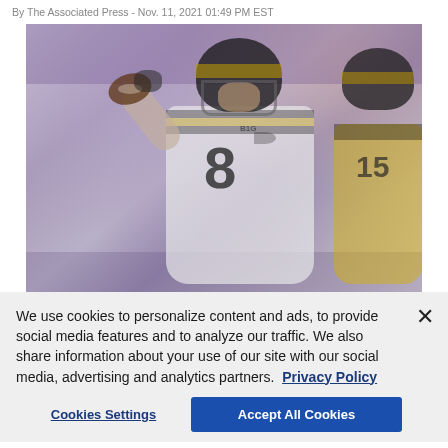By The Associated Press - Nov. 11, 2021 01:49 PM EST
[Figure (photo): Iowa Hawkeyes quarterback wearing jersey number 8 in white uniform winding up to throw a pass, with a teammate in yellow jersey visible to the right. Background is blurred stadium crowd.]
We use cookies to personalize content and ads, to provide social media features and to analyze our traffic. We also share information about your use of our site with our social media, advertising and analytics partners. Privacy Policy
Cookies Settings
Accept All Cookies